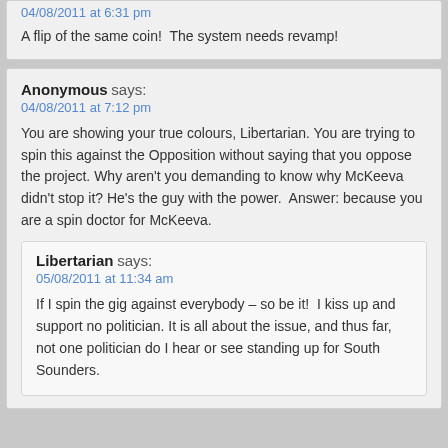04/08/2011 at 6:31 pm
A flip of the same coin!  The system needs revamp!
Anonymous says:
04/08/2011 at 7:12 pm
You are showing your true colours, Libertarian. You are trying to spin this against the Opposition without saying that you oppose the project. Why aren't you demanding to know why McKeeva didn't stop it? He's the guy with the power.  Answer: because you are a spin doctor for McKeeva.
Libertarian says:
05/08/2011 at 11:34 am
If I spin the gig against everybody – so be it!  I kiss up and support no politician. It is all about the issue, and thus far, not one politician do I hear or see standing up for South Sounders.